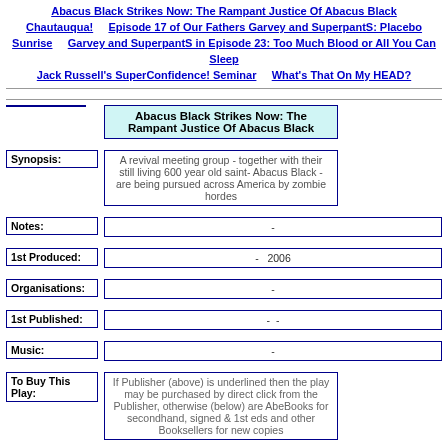Abacus Black Strikes Now: The Rampant Justice Of Abacus Black  Chautauqua!  Episode 17 of Our Fathers Garvey and SuperpantS: Placebo Sunrise  Garvey and SuperpantS in Episode 23: Too Much Blood or All You Can Sleep  Jack Russell's SuperConfidence! Seminar  What's That On My HEAD?
Abacus Black Strikes Now: The Rampant Justice Of Abacus Black
| Field | Value |
| --- | --- |
| Synopsis: | A revival meeting group - together with their still living 600 year old saint- Abacus Black - are being pursued across America by zombie hordes |
| Notes: | - |
| 1st Produced: | -  2006 |
| Organisations: | - |
| 1st Published: | - - |
| Music: | - |
| To Buy This Play: | If Publisher (above) is underlined then the play may be purchased by direct click from the Publisher, otherwise (below) are AbeBooks for secondhand, signed & 1st eds and other Booksellers for new copies |
| Booksellers: | abebooks.com  abebooks.co.uk  Stageplays.com  amazon.com  amazon.co.uk  ar |
| Genre: | - |
| Parts: | Male: -   Female: -   Other: - |
| Further: |  |